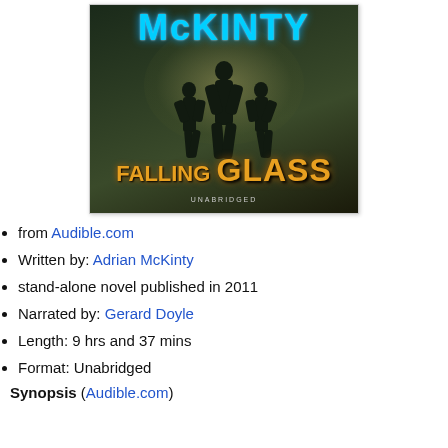[Figure (illustration): Book cover for 'Falling Glass' by McKinty. Dark atmospheric cover showing silhouettes of an adult and two children holding hands, walking away. 'McKINTY' in large cyan letters at top, 'FALLING GLASS' in large gold/orange letters at bottom. 'UNABRIDGED' text below the title.]
from Audible.com
Written by: Adrian McKinty
stand-alone novel published in 2011
Narrated by: Gerard Doyle
Length: 9 hrs and 37 mins
Format: Unabridged
Synopsis (Audible.com)